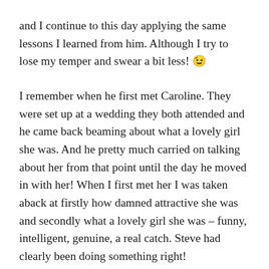and I continue to this day applying the same lessons I learned from him. Although I try to lose my temper and swear a bit less! 😉
I remember when he first met Caroline. They were set up at a wedding they both attended and he came back beaming about what a lovely girl she was. And he pretty much carried on talking about her from that point until the day he moved in with her! When I first met her I was taken aback at firstly how damned attractive she was and secondly what a lovely girl she was – funny, intelligent, genuine, a real catch. Steve had clearly been doing something right!
However the best was yet to come. Having moved down south to be with her, every time I met up with them again it